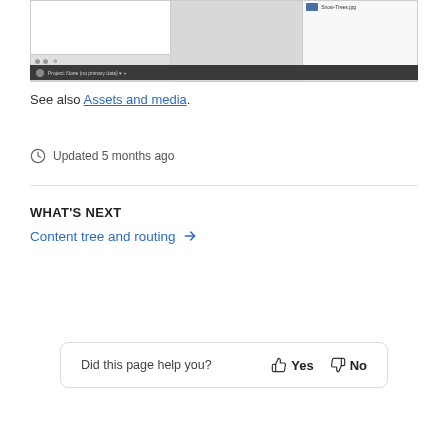[Figure (screenshot): Screenshot of a CMS or media manager interface showing a file browser panel on the left, a large grey content area in the middle, and a media/asset panel on the right with an image thumbnail labeled 'Snow-Trees.jpg'. A dark toolbar at the bottom shows 'Project: None (no primary data)'.]
See also Assets and media.
Updated 5 months ago
WHAT'S NEXT
Content tree and routing →
Did this page help you?  👍 Yes  👎 No